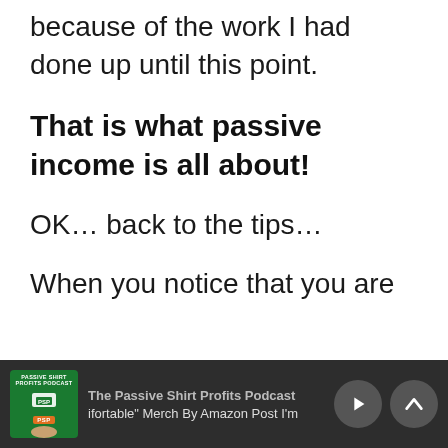because of the work I had done up until this point.
That is what passive income is all about!
OK… back to the tips…
When you notice that you are
The Passive Shirt Profits Podcast — ifortable" Merch By Amazon Post I'm